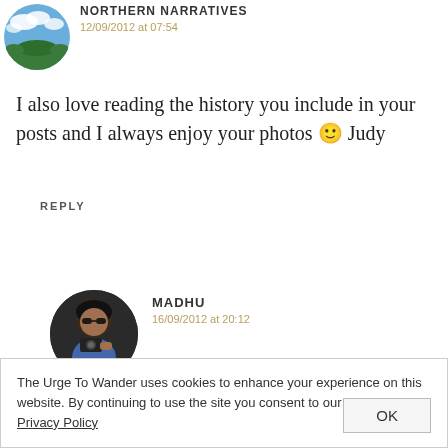NORTHERN NARRATIVES
12/09/2012 at 07:54
I also love reading the history you include in your posts and I always enjoy your photos 🙂 Judy
REPLY
[Figure (photo): Circular avatar photo of person with camera (Madhu)]
MADHU
16/09/2012 at 20:12
The Urge To Wander uses cookies to enhance your experience on this website. By continuing to use the site you consent to our cookies. Privacy Policy